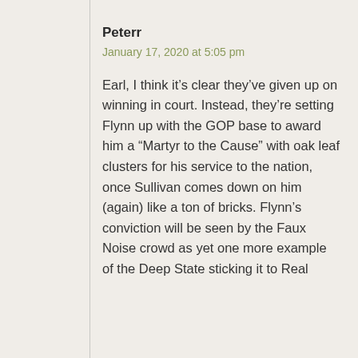Peterr
January 17, 2020 at 5:05 pm
Earl, I think it’s clear they’ve given up on winning in court. Instead, they’re setting Flynn up with the GOP base to award him a “Martyr to the Cause” with oak leaf clusters for his service to the nation, once Sullivan comes down on him (again) like a ton of bricks. Flynn’s conviction will be seen by the Faux Noise crowd as yet one more example of the Deep State sticking it to Real